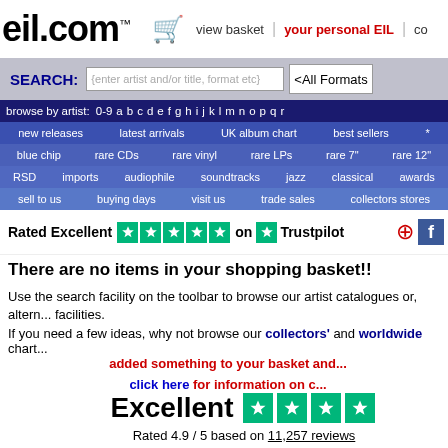eil.com™ — view basket | your personal EIL | co...
SEARCH: {enter artist and/or title, format etc} <All Formats>
browse by artist: 0-9 a b c d e f g h i j k l m n o p q r
new releases | latest arrivals | UK album chart | best sellers | *
blue chip | rare CDs | rare vinyl | rare LPs | rare 7" | rare 12"
RSD | imports | audiophile | soundtracks | jazz | classical | awards
sell to us | buying days | visit us | trade sales | collectors stores
[Figure (logo): Trustpilot Rated Excellent 5 stars and social icons]
There are no items in your shopping basket!!
Use the search facility on the toolbar to browse our artist catalogues or, altern... facilities.
If you need a few ideas, why not browse our collectors' and worldwide chart...
added something to your basket and... click here for information on c...
[Figure (logo): Trustpilot Excellent 5 stars rating. Rated 4.9 / 5 based on 11,257 reviews]